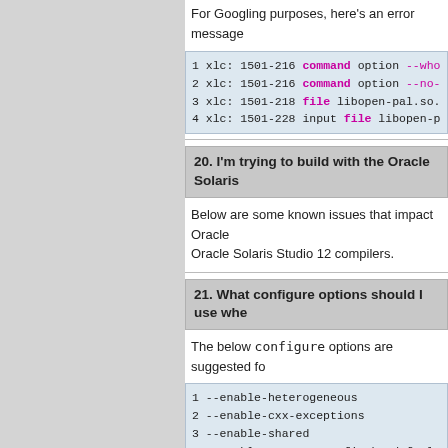For Googling purposes, here's an error message
1 xlc: 1501-216 command option --who
2 xlc: 1501-216 command option --no-
3 xlc: 1501-218 file libopen-pal.so.
4 xlc: 1501-228 input file libopen-p
20. I'm trying to build with the Oracle Solaris
Below are some known issues that impact Oracle Solaris Studio 12 compilers.
21. What configure options should I use whe
The below configure options are suggested fo
1 --enable-heterogeneous
2 --enable-cxx-exceptions
3 --enable-shared
4 --enable-orterun-prefix-by-default
5 --enable-mpi-f90
6 --with-mpi-f90-size=small
7 --disable-mpi-threads
8 --disable-progress-threads
9 --disable-debug
Linux only: